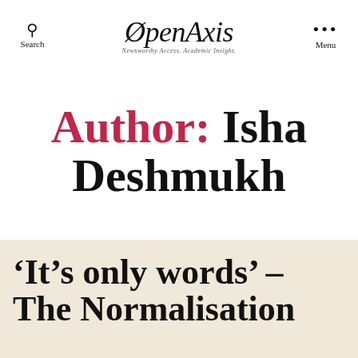Search | OpenAxis — Newsworthy Access. Academic Insight. | Menu
Author: Isha Deshmukh
'It's only words' – The Normalisation